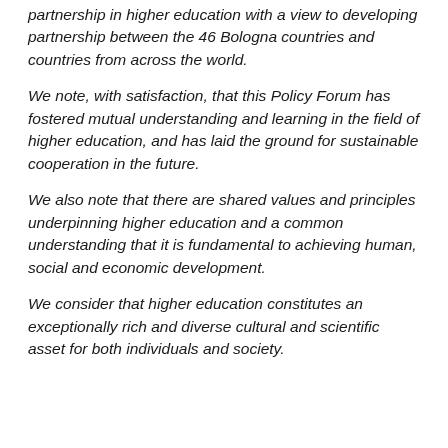partnership in higher education with a view to developing partnership between the 46 Bologna countries and countries from across the world.
We note, with satisfaction, that this Policy Forum has fostered mutual understanding and learning in the field of higher education, and has laid the ground for sustainable cooperation in the future.
We also note that there are shared values and principles underpinning higher education and a common understanding that it is fundamental to achieving human, social and economic development.
We consider that higher education constitutes an exceptionally rich and diverse cultural and scientific asset for both individuals and society.